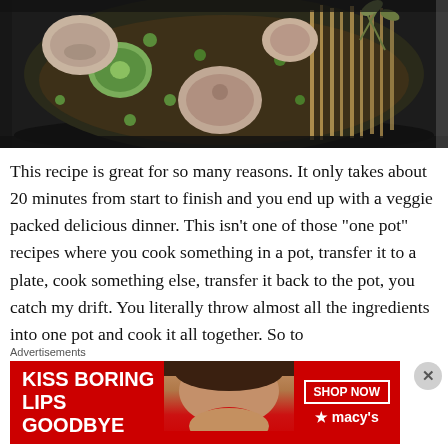[Figure (photo): A dark cooking pot viewed from above containing vegetables including sliced mushrooms, zucchini, green peas, spaghetti noodles, and fresh herbs in liquid/broth]
This recipe is great for so many reasons. It only takes about 20 minutes from start to finish and you end up with a veggie packed delicious dinner. This isn't one of those “one pot” recipes where you cook something in a pot, transfer it to a plate, cook something else, transfer it back to the pot, you catch my drift. You literally throw almost all the ingredients into one pot and cook it all together. So to
Advertisements
[Figure (photo): Advertisement banner: red background with white bold text 'KISS BORING LIPS GOODBYE', a woman's face with red lips in the center, and a 'SHOP NOW' button with Macy's star logo on the right]